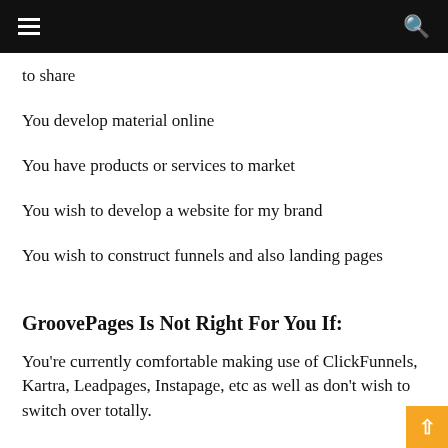☰  🔍
to share
You develop material online
You have products or services to market
You wish to develop a website for my brand
You wish to construct funnels and also landing pages
GroovePages Is Not Right For You If:
You're currently comfortable making use of ClickFunnels, Kartra, Leadpages, Instapage, etc as well as don't wish to switch over totally.